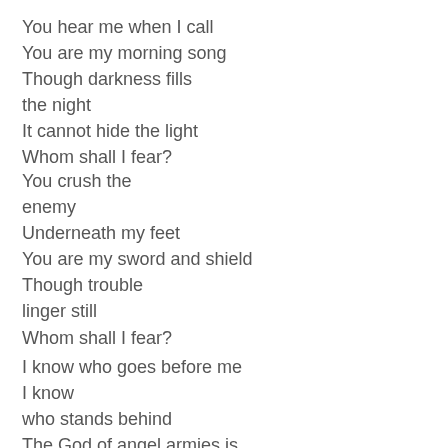You hear me when I call
You are my morning song
Though darkness fills
the night
It cannot hide the light
Whom shall I fear?
You crush the
enemy
Underneath my feet
You are my sword and shield
Though trouble
linger still
Whom shall I fear?
I know who goes before me
I know
who stands behind
The God of angel armies is...